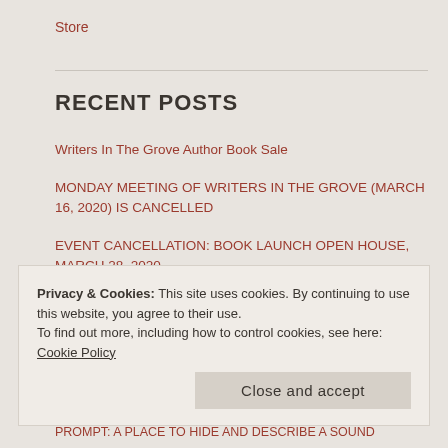Store
RECENT POSTS
Writers In The Grove Author Book Sale
MONDAY MEETING OF WRITERS IN THE GROVE (MARCH 16, 2020) IS CANCELLED
EVENT CANCELLATION: BOOK LAUNCH OPEN HOUSE, MARCH 28, 2020
PROMPT: TWO OPTIONS
Privacy & Cookies: This site uses cookies. By continuing to use this website, you agree to their use.
To find out more, including how to control cookies, see here: Cookie Policy
Close and accept
PROMPT: A PLACE TO HIDE AND DESCRIBE A SOUND